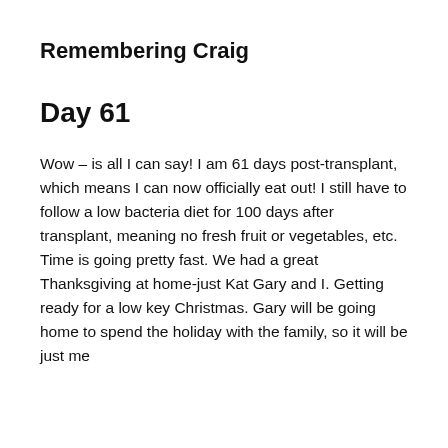Remembering Craig
Day 61
Wow – is all I can say! I am 61 days post-transplant, which means I can now officially eat out! I still have to follow a low bacteria diet for 100 days after transplant, meaning no fresh fruit or vegetables, etc. Time is going pretty fast. We had a great Thanksgiving at home-just Kat Gary and I. Getting ready for a low key Christmas. Gary will be going home to spend the holiday with the family, so it will be just me